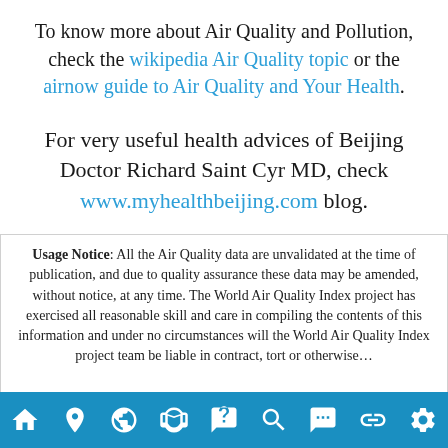To know more about Air Quality and Pollution, check the wikipedia Air Quality topic or the airnow guide to Air Quality and Your Health.
For very useful health advices of Beijing Doctor Richard Saint Cyr MD, check www.myhealthbeijing.com blog.
Usage Notice: All the Air Quality data are unvalidated at the time of publication, and due to quality assurance these data may be amended, without notice, at any time. The World Air Quality Index project has exercised all reasonable skill and care in compiling the contents of this information and under no circumstances will the World Air Quality Index project team be liable in contract, tort or otherwise…
[Figure (other): Navigation bar with icons: home, location pin, globe, mask/health, FAQ speech bubble, magnifier, person with speech bubble, link/chain, settings gear]